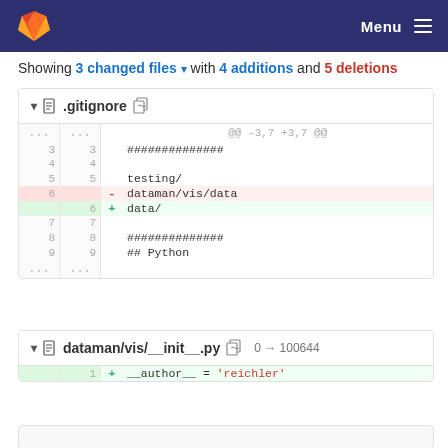GitLab Menu
Showing 3 changed files with 4 additions and 5 deletions
.gitignore diff: @@ -3,7 +3,7 @@ ... lines 3-9 showing deletion of dataman/vis/data and addition of data/
dataman/vis/__init__.py 0 → 100644 diff: + __author__ = 'reichler'